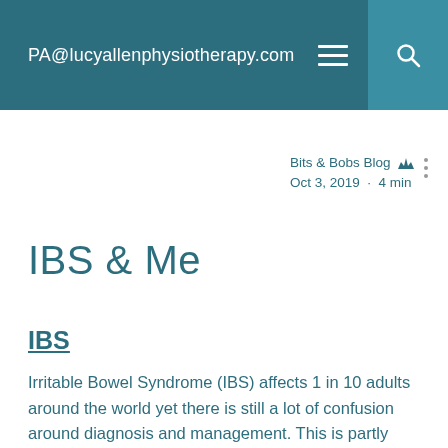PA@lucyallenphysiotherapy.com
Bits & Bobs Blog
Oct 3, 2019 · 4 min
IBS & Me
IBS
Irritable Bowel Syndrome (IBS) affects 1 in 10 adults around the world yet there is still a lot of confusion around diagnosis and management. This is partly down to the symptoms varying from person to person but also the symptoms can mimic those of other problems such as lactose